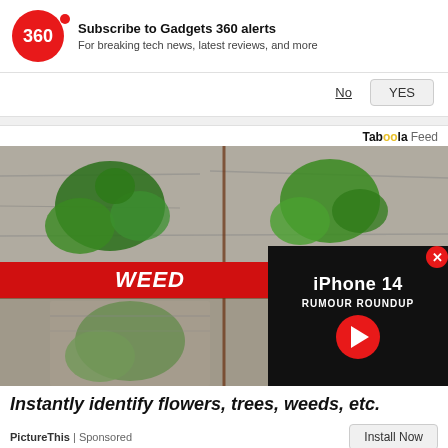[Figure (screenshot): Gadgets 360 push notification subscription prompt with red circular logo showing '360', bold title 'Subscribe to Gadgets 360 alerts', subtitle 'For breaking tech news, latest reviews, and more', and two buttons: 'No' (underlined) and 'YES' (button style)]
Taboola Feed
[Figure (photo): Advertisement image showing plants growing through cracks in pavement, split into a 2x2 grid with 'WEED' on red banner and 'OR' on blue banner overlaid. A video overlay in the bottom right shows 'iPhone 14 RUMOUR ROUNDUP' with a red play button. A red X close button appears in the top right of the video.]
Instantly identify flowers, trees, weeds, etc.
PictureThis | Sponsored
Install Now